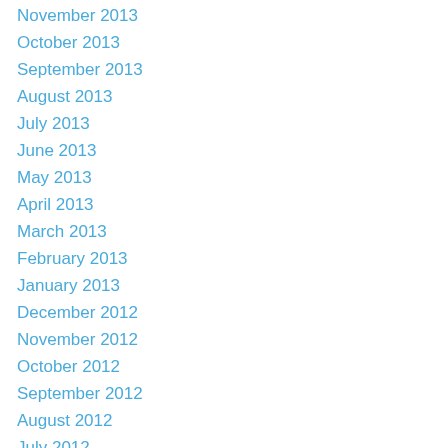November 2013
October 2013
September 2013
August 2013
July 2013
June 2013
May 2013
April 2013
March 2013
February 2013
January 2013
December 2012
November 2012
October 2012
September 2012
August 2012
July 2012
June 2012
August 2010
July 2010